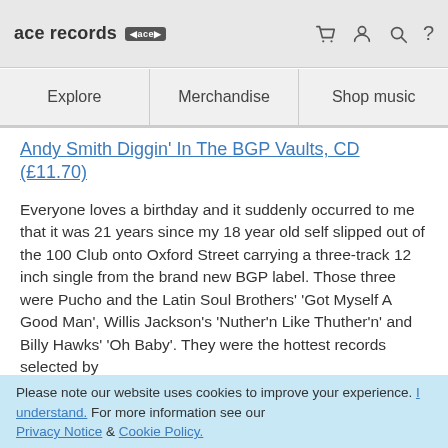ace records [logo] [cart] [user] [search] [?]
Explore | Merchandise | Shop music
Andy Smith Diggin' In The BGP Vaults, CD (£11.70)
Everyone loves a birthday and it suddenly occurred to me that it was 21 years since my 18 year old self slipped out of the 100 Club onto Oxford Street carrying a three-track 12 inch single from the brand new BGP label. Those three were Pucho and the Latin Soul Brothers' 'Got Myself A Good Man', Willis Jackson's 'Nuther'n Like Thuther'n' and Billy Hawks' 'Oh Baby'. They were the hottest records selected by
Please note our website uses cookies to improve your experience. I understand. For more information see our Privacy Notice & Cookie Policy.